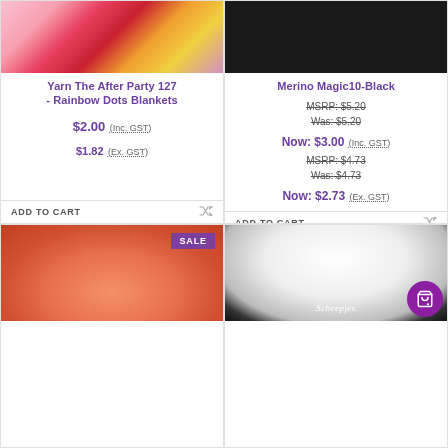[Figure (photo): Colorful rainbow dots blanket draped over a chair]
Yarn The After Party 127 - Rainbow Dots Blankets
$2.00 (Inc. GST) $1.82 (Ex. GST)
ADD TO CART
[Figure (photo): Black Merino Magic yarn]
Merino Magic10-Black
MSRP: $5.20 Was: $5.20 Now: $3.00 (Inc. GST) MSRP: $4.73 Was: $4.73 Now: $2.73 (Ex. GST)
ADD TO CART
[Figure (photo): Salmon/coral colored yarn ball with SALE badge]
[Figure (photo): White fluffy Scheepjes yarn with purple shopping cart icon]